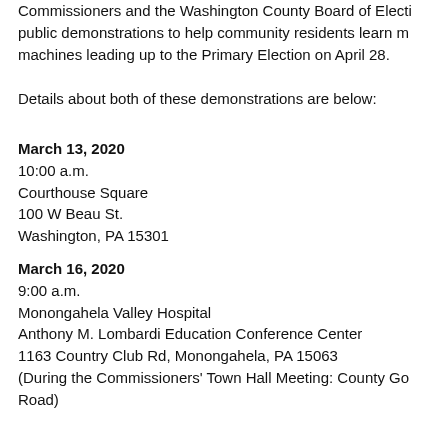Commissioners and the Washington County Board of Elections will conduct public demonstrations to help community residents learn more about the new machines leading up to the Primary Election on April 28.
Details about both of these demonstrations are below:
March 13, 2020
10:00 a.m.
Courthouse Square
100 W Beau St.
Washington, PA 15301
March 16, 2020
9:00 a.m.
Monongahela Valley Hospital
Anthony M. Lombardi Education Conference Center
1163 Country Club Rd, Monongahela, PA 15063
(During the Commissioners' Town Hall Meeting: County Go… Road)